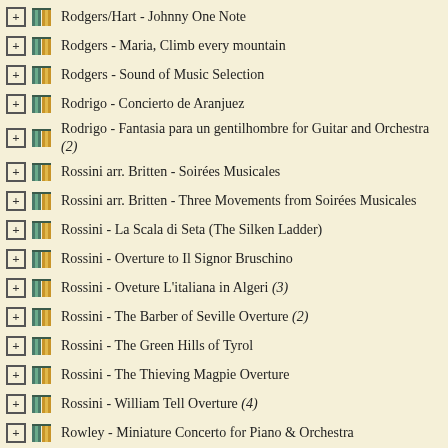Rodgers/Hart - Johnny One Note
Rodgers - Maria, Climb every mountain
Rodgers - Sound of Music Selection
Rodrigo - Concierto de Aranjuez
Rodrigo - Fantasia para un gentilhombre for Guitar and Orchestra (2)
Rossini arr. Britten - Soirées Musicales
Rossini arr. Britten - Three Movements from Soirées Musicales
Rossini - La Scala di Seta (The Silken Ladder)
Rossini - Overture to Il Signor Bruschino
Rossini - Oveture L'italiana in Algeri (3)
Rossini - The Barber of Seville Overture (2)
Rossini - The Green Hills of Tyrol
Rossini - The Thieving Magpie Overture
Rossini - William Tell Overture (4)
Rowley - Miniature Concerto for Piano & Orchestra
Rutter - Shepherd's Pipe Carol
Rutter - Twelve Days of Christmas